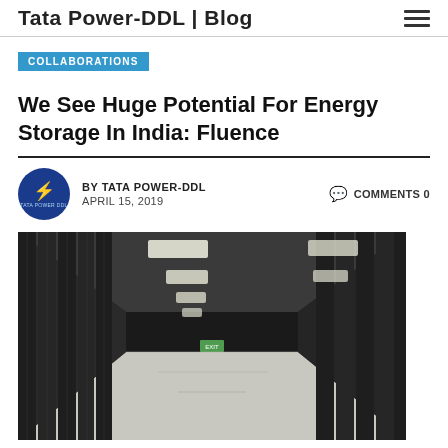Tata Power-DDL | Blog
COLLABORATIONS
We See Huge Potential For Energy Storage In India: Fluence
BY TATA POWER-DDL  APRIL 15, 2019  COMMENTS 0
[Figure (photo): Interior corridor of a data center with rows of black server racks on both sides, white ceiling with rectangular lighting panels, and a white-floored aisle leading into the distance.]